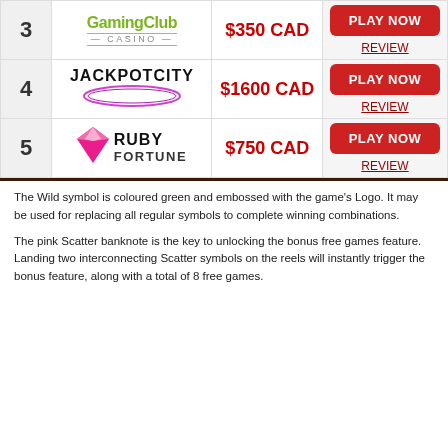| # | Casino | Bonus | Action |
| --- | --- | --- | --- |
| 3 | Gaming Club Casino | $350 CAD | PLAY NOW / REVIEW |
| 4 | JackpotCity | $1600 CAD | PLAY NOW / REVIEW |
| 5 | Ruby Fortune | $750 CAD | PLAY NOW / REVIEW |
The Wild symbol is coloured green and embossed with the game's Logo. It may be used for replacing all regular symbols to complete winning combinations.
The pink Scatter banknote is the key to unlocking the bonus free games feature. Landing two interconnecting Scatter symbols on the reels will instantly trigger the bonus feature, along with a total of 8 free games.